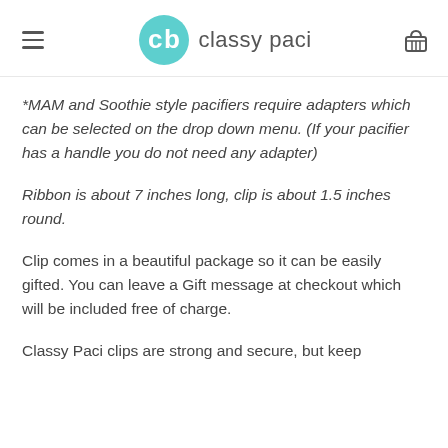classy paci
*MAM and Soothie style pacifiers require adapters which can be selected on the drop down menu. (If your pacifier has a handle you do not need any adapter)
Ribbon is about 7 inches long, clip is about 1.5 inches round.
Clip comes in a beautiful package so it can be easily gifted. You can leave a Gift message at checkout which will be included free of charge.
Classy Paci clips are strong and secure, but keep